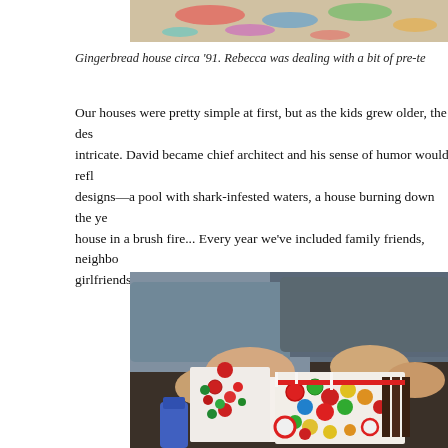[Figure (photo): Top portion of a colorful photo, appears to show paint or art supplies with bright colors splattered]
Gingerbread house circa '91. Rebecca was dealing with a bit of pre-te
Our houses were pretty simple at first, but as the kids grew older, the designs became more intricate. David became chief architect and his sense of humor would reflect in the designs—a pool with shark-infested waters, a house burning down the year of the Oakland hills house in a brush fire... Every year we've included family friends, neighbors, and girlfriends—each person finding a spot on the house to call their own.
[Figure (photo): People decorating a gingerbread house with colorful candies including M&Ms, peppermints, and chocolate pieces. Hands visible placing candy on white frosted house.]